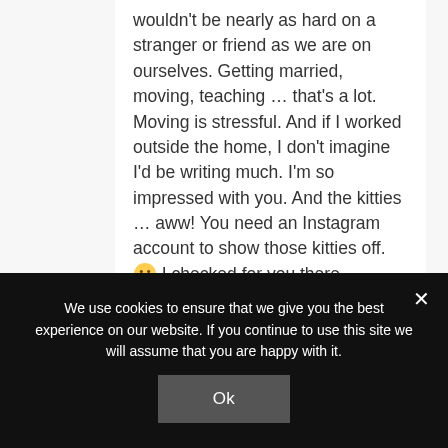wouldn't be nearly as hard on a stranger or friend as we are on ourselves. Getting married, moving, teaching … that's a lot. Moving is stressful. And if I worked outside the home, I don't imagine I'd be writing much. I'm so impressed with you. And the kitties … aww! You need an Instagram account to show those kitties off. 🙂 I checked for you there. 🙂
We use cookies to ensure that we give you the best experience on our website. If you continue to use this site we will assume that you are happy with it.